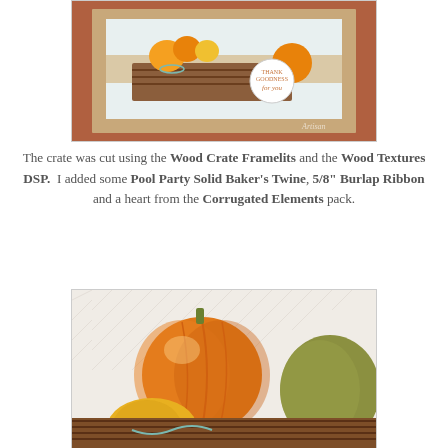[Figure (photo): Handmade greeting card with a wood crate holding pumpkins, decorated with burlap ribbon and twine, with a circular 'Thank Goodness for You' sentiment tag. Artisan watermark visible.]
The crate was cut using the Wood Crate Framelits and the Wood Textures DSP.  I added some Pool Party Solid Baker's Twine, 5/8" Burlap Ribbon and a heart from the Corrugated Elements pack.
[Figure (photo): Close-up photo of orange and yellow pumpkins sitting in a wooden crate with twine decoration, on a herringbone patterned background.]